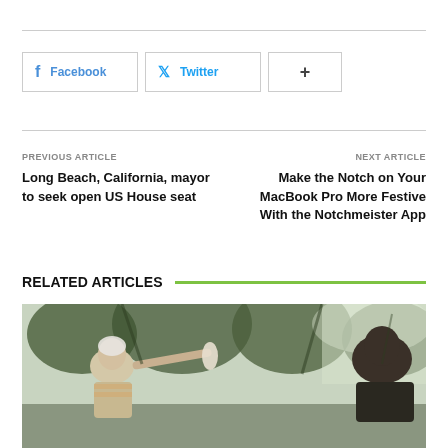Facebook
Twitter
+
PREVIOUS ARTICLE
Long Beach, California, mayor to seek open US House seat
NEXT ARTICLE
Make the Notch on Your MacBook Pro More Festive With the Notchmeister App
RELATED ARTICLES
[Figure (photo): Elderly man being approached by someone holding a microphone or brush outdoors with trees in background]